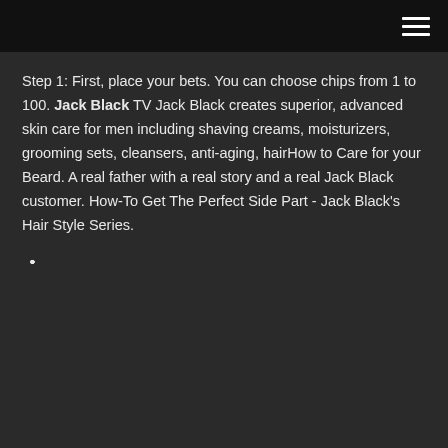Step 1: First, place your bets. You can choose chips from 1 to 100. Jack Black TV Jack Black creates superior, advanced skin care for men including shaving creams, moisturizers, grooming sets, cleansers, anti-aging, hairHow to Care for your Beard. A real father with a real story and a real Jack Black customer. How-To Get The Perfect Side Part - Jack Black's Hair Style Series.